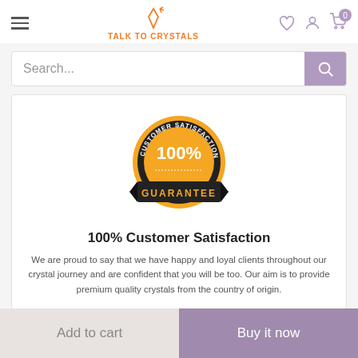Talk To Crystals - navigation header with hamburger menu, logo, heart icon, account icon, cart icon (0)
[Figure (screenshot): Search bar with placeholder text 'Search...' and a purple search button]
[Figure (illustration): Customer Satisfaction Guarantee badge - gold/black circular seal with '100%' in center and 'GUARANTEE' on a ribbon banner, 'CUSTOMER SATISFACTION' text around the top]
100% Customer Satisfaction
We are proud to say that we have happy and loyal clients throughout our crystal journey and are confident that you will be too. Our aim is to provide premium quality crystals from the country of origin.
Add to cart | Buy it now